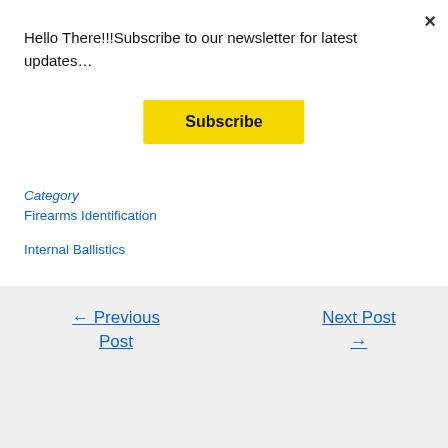Hello There!!!Subscribe to our newsletter for latest updates…
Subscribe
×
Firearms Identification
Internal Ballistics
← Previous Post
Next Post →